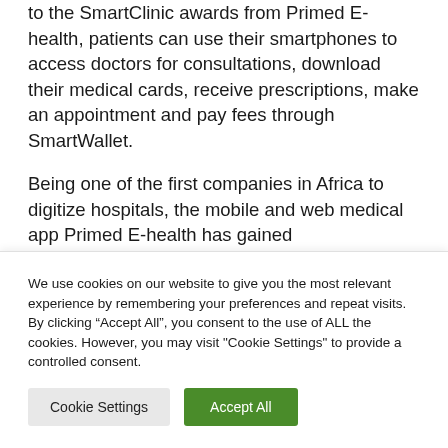to the SmartClinic awards from Primed E-health, patients can use their smartphones to access doctors for consultations, download their medical cards, receive prescriptions, make an appointment and pay fees through SmartWallet.
Being one of the first companies in Africa to digitize hospitals, the mobile and web medical app Primed E-health has gained
We use cookies on our website to give you the most relevant experience by remembering your preferences and repeat visits. By clicking “Accept All”, you consent to the use of ALL the cookies. However, you may visit "Cookie Settings" to provide a controlled consent.